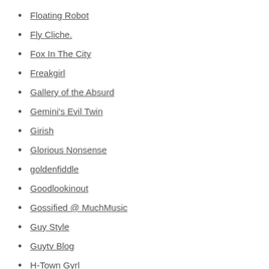Floating Robot
Fly Cliche.
Fox In The City
Freakgirl
Gallery of the Absurd
Gemini's Evil Twin
Girish
Glorious Nonsense
goldenfiddle
Goodlookinout
Gossified @ MuchMusic
Guy Style
Guytv Blog
H-Town Gyrl
Heartbreak Soup
Hey Foxy!
Hit The Dash!
Hodge shall not be shot